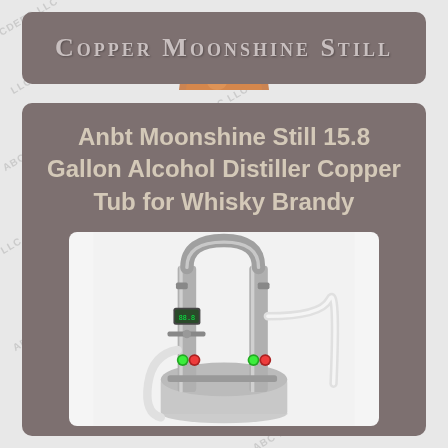Copper Moonshine Still
[Figure (photo): Product listing image showing a copper/stainless steel moonshine still distiller apparatus with tubes, valves, green and red indicator lights, digital display, and hoses. Header shows 'Copper Moonshine Still' branding on dark gray banner with copper dome visible.]
Anbt Moonshine Still 15.8 Gallon Alcohol Distiller Copper Tub for Whisky Brandy